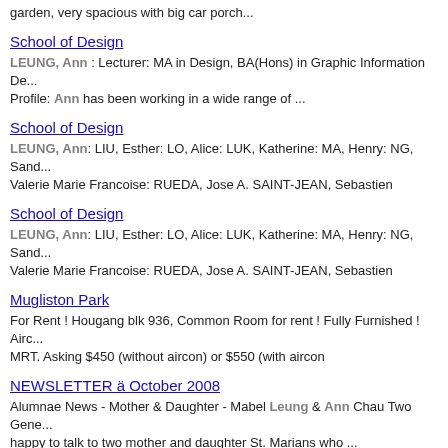garden, very spacious with big car porch...
School of Design
LEUNG, Ann : Lecturer: MA in Design, BA(Hons) in Graphic Information De... Profile: Ann has been working in a wide range of ...
School of Design
LEUNG, Ann: LIU, Esther: LO, Alice: LUK, Katherine: MA, Henry: NG, Sand... Valerie Marie Francoise: RUEDA, Jose A. SAINT-JEAN, Sebastien
School of Design
LEUNG, Ann: LIU, Esther: LO, Alice: LUK, Katherine: MA, Henry: NG, Sand... Valerie Marie Francoise: RUEDA, Jose A. SAINT-JEAN, Sebastien
Mugliston Park
For Rent ! Hougang blk 936, Common Room for rent ! Fully Furnished ! Airc... MRT. Asking $450 (without aircon) or $550 (with aircon
NEWSLETTER ä October 2008
Alumnae News - Mother & Daughter - Mabel Leung & Ann Chau Two Gene... happy to talk to two mother and daughter St. Marians who ...
MScMET 07
LEUNG Ann, Lecturer Ann is a graduate from U.K. with a BA honors degre... Design from The Hong Kong Polytechnic University ...
Contents search
Leung, Ann N. / Breuner, Michel W. / Gomey, Gordon. / Mike, Schanne N...